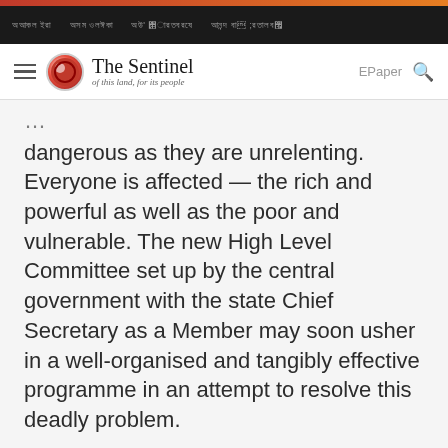The Sentinel – of this land, for its people
dangerous as they are unrelenting. Everyone is affected — the rich and powerful as well as the poor and vulnerable. The new High Level Committee set up by the central government with the state Chief Secretary as a Member may soon usher in a well-organised and tangibly effective programme in an attempt to resolve this deadly problem.